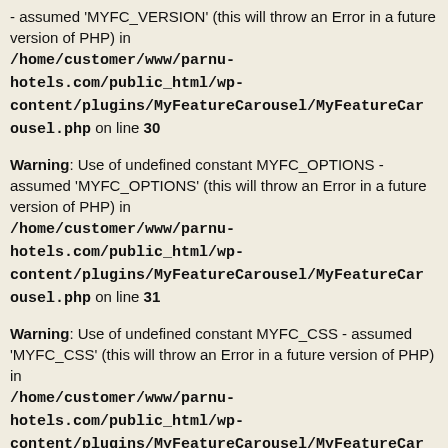- assumed 'MYFC_VERSION' (this will throw an Error in a future version of PHP) in /home/customer/www/parnu-hotels.com/public_html/wp-content/plugins/MyFeatureCarousel/MyFeatureCarousel.php on line 30
Warning: Use of undefined constant MYFC_OPTIONS - assumed 'MYFC_OPTIONS' (this will throw an Error in a future version of PHP) in /home/customer/www/parnu-hotels.com/public_html/wp-content/plugins/MyFeatureCarousel/MyFeatureCarousel.php on line 31
Warning: Use of undefined constant MYFC_CSS - assumed 'MYFC_CSS' (this will throw an Error in a future version of PHP) in /home/customer/www/parnu-hotels.com/public_html/wp-content/plugins/MyFeatureCarousel/MyFeatureCar